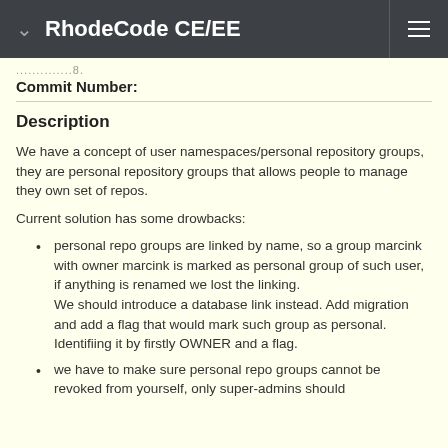RhodeCode CE/EE
..............8.
Commit Number:
Description
We have a concept of user namespaces/personal repository groups, they are personal repository groups that allows people to manage they own set of repos.
Current solution has some drowbacks:
personal repo groups are linked by name, so a group marcink with owner marcink is marked as personal group of such user, if anything is renamed we lost the linking.
We should introduce a database link instead. Add migration and add a flag that would mark such group as personal. Identifiing it by firstly OWNER and a flag.
we have to make sure personal repo groups cannot be revoked from yourself, only super-admins should